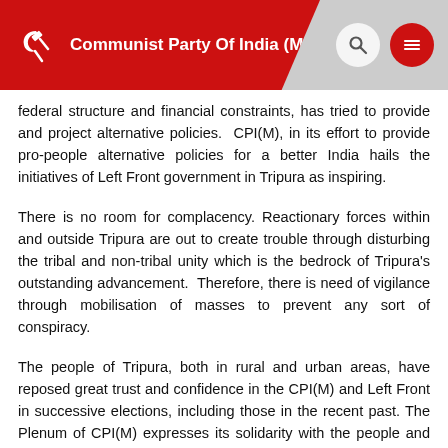Communist Party Of India (Marxist)
federal structure and financial constraints, has tried to provide and project alternative policies.  CPI(M), in its effort to provide pro-people alternative policies for a better India hails the initiatives of Left Front government in Tripura as inspiring.
There is no room for complacency. Reactionary forces within and outside Tripura are out to create trouble through disturbing the tribal and non-tribal unity which is the bedrock of Tripura's outstanding advancement.  Therefore, there is need of vigilance through mobilisation of masses to prevent any sort of conspiracy.
The people of Tripura, both in rural and urban areas, have reposed great trust and confidence in the CPI(M) and Left Front in successive elections, including those in the recent past. The Plenum of CPI(M) expresses its solidarity with the people and Left Front government of Tripura and calls upon all Party units to project these achievements to people in every corner of the